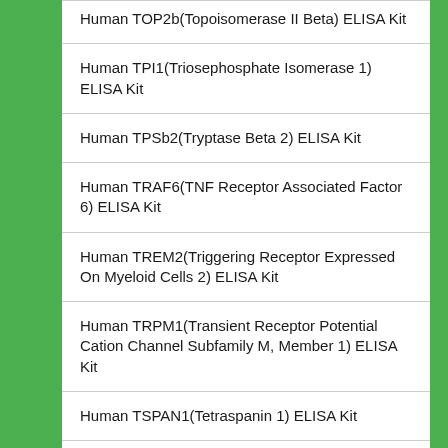Human TOP2b(Topoisomerase II Beta) ELISA Kit
Human TPI1(Triosephosphate Isomerase 1) ELISA Kit
Human TPSb2(Tryptase Beta 2) ELISA Kit
Human TRAF6(TNF Receptor Associated Factor 6) ELISA Kit
Human TREM2(Triggering Receptor Expressed On Myeloid Cells 2) ELISA Kit
Human TRPM1(Transient Receptor Potential Cation Channel Subfamily M, Member 1) ELISA Kit
Human TSPAN1(Tetraspanin 1) ELISA Kit
Human TSPAN30(Tetraspanin 30) ELISA Kit
Human TSPO(Translocator Protein) ELISA Kit